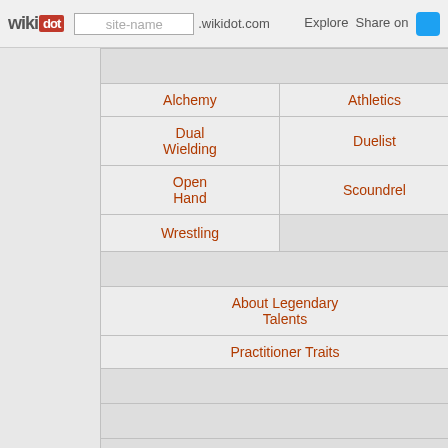wikidot | site-name .wikidot.com | Explore | Share on [twitter]
| Alchemy | Athletics |
| Dual Wielding | Duelist |
| Open Hand | Scoundrel |
| Wrestling |  |
|  |  |
| About Legendary Talents |  |
| Practitioner Traits |  |
|  |  |
|  |  |
|  |  |
| The Conque... |  |
| The Highlan... |  |
| The Invento... |  |
| Woodfarin... |  |
|  |  |